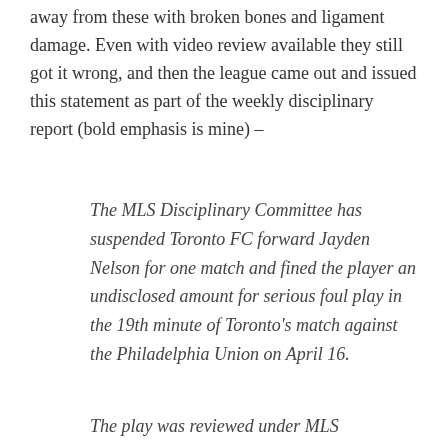away from these with broken bones and ligament damage. Even with video review available they still got it wrong, and then the league came out and issued this statement as part of the weekly disciplinary report (bold emphasis is mine) –
The MLS Disciplinary Committee has suspended Toronto FC forward Jayden Nelson for one match and fined the player an undisclosed amount for serious foul play in the 19th minute of Toronto's match against the Philadelphia Union on April 16.
The play was reviewed under MLS Disciplinary